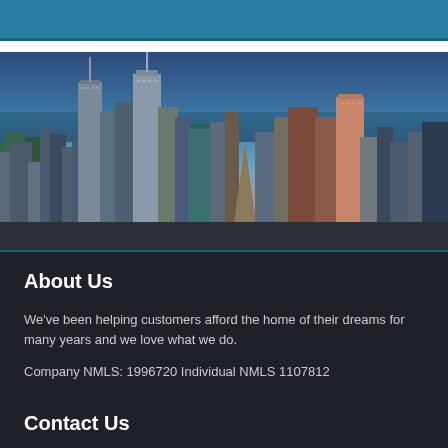[Figure (other): Blue teal colored header bar at top of page]
[Figure (photo): Aerial photograph of Chicago city skyline with tall skyscrapers and Lake Michigan in the background at dusk/twilight with blue and pink sky]
About Us
We've been helping customers afford the home of their dreams for many years and we love what we do.
Company NMLS: 1996720 Individual NMLS 1107812
www.nmlsconsumeraccess.org
Contact Us